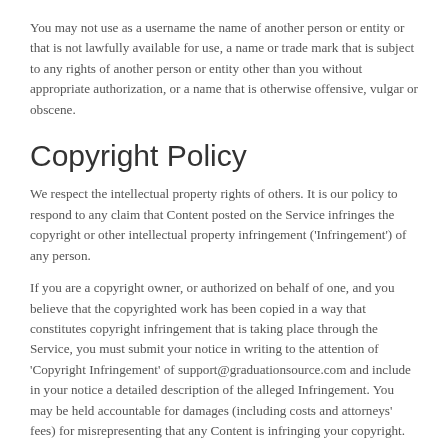You may not use as a username the name of another person or entity or that is not lawfully available for use, a name or trade mark that is subject to any rights of another person or entity other than you without appropriate authorization, or a name that is otherwise offensive, vulgar or obscene.
Copyright Policy
We respect the intellectual property rights of others. It is our policy to respond to any claim that Content posted on the Service infringes the copyright or other intellectual property infringement ('Infringement') of any person.
If you are a copyright owner, or authorized on behalf of one, and you believe that the copyrighted work has been copied in a way that constitutes copyright infringement that is taking place through the Service, you must submit your notice in writing to the attention of 'Copyright Infringement' of support@graduationsource.com and include in your notice a detailed description of the alleged Infringement. You may be held accountable for damages (including costs and attorneys' fees) for misrepresenting that any Content is infringing your copyright.